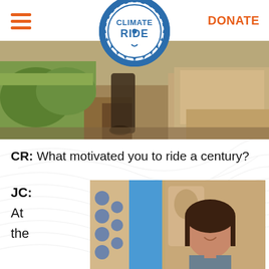[Figure (logo): Climate Ride circular logo with gear/cog border and text CLIMATE RIDE in blue]
[Figure (photo): Top banner photo showing cyclist on a trail or dirt path with grass and rocky terrain]
CR: What motivated you to ride a century?
JC:
At
the
[Figure (photo): Portrait photo of a person smiling in front of ornate stone architectural facade with blue sky visible]